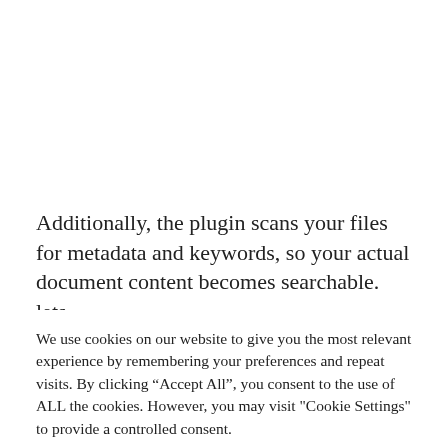Additionally, the plugin scans your files for metadata and keywords, so your actual document content becomes searchable. lets
We use cookies on our website to give you the most relevant experience by remembering your preferences and repeat visits. By clicking “Accept All”, you consent to the use of ALL the cookies. However, you may visit "Cookie Settings" to provide a controlled consent.